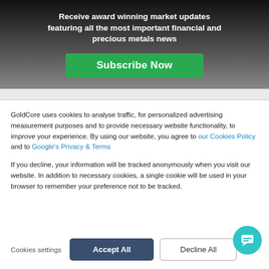[Figure (infographic): Dark gradient banner with text 'Receive award winning market updates featuring all the most important financial and precious metals news' and a green Subscribe Now button]
GoldCore uses cookies to analyse traffic, for personalized advertising measurement purposes and to provide necessary website functionality, to improve your experience. By using our website, you agree to our Cookies Policy and to Google's Privacy & Terms
If you decline, your information will be tracked anonymously when you visit our website. In addition to necessary cookies, a single cookie will be used in your browser to remember your preference not to be tracked.